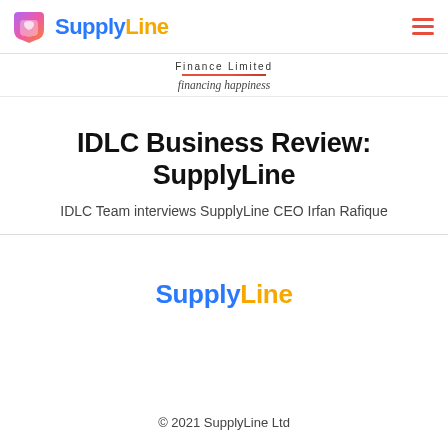SupplyLine
[Figure (logo): IDLC Finance Limited logo with tagline 'financing happiness']
IDLC Business Review: SupplyLine
IDLC Team interviews SupplyLine CEO Irfan Rafique
[Figure (logo): SupplyLine brand logo text in blue and yellow]
© 2021 SupplyLine Ltd